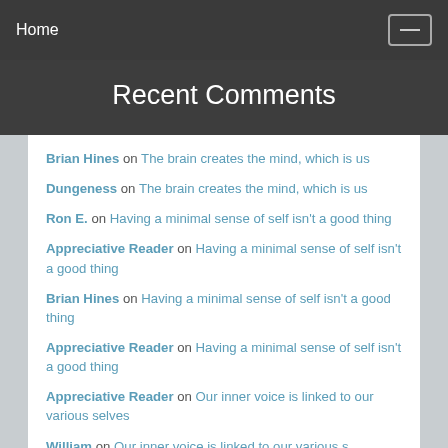Home
Recent Comments
Brian Hines on The brain creates the mind, which is us
Dungeness on The brain creates the mind, which is us
Ron E. on Having a minimal sense of self isn't a good thing
Appreciative Reader on Having a minimal sense of self isn't a good thing
Brian Hines on Having a minimal sense of self isn't a good thing
Appreciative Reader on Having a minimal sense of self isn't a good thing
Appreciative Reader on Our inner voice is linked to our various selves
William on Our inner voice is linked to our various selves